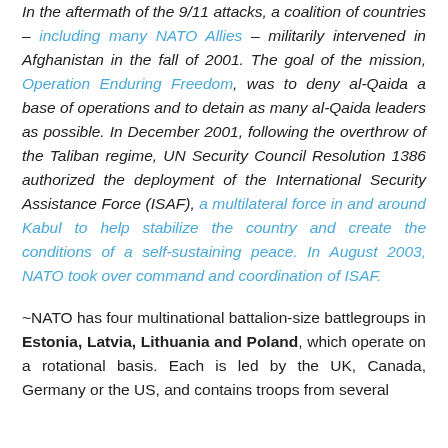In the aftermath of the 9/11 attacks, a coalition of countries – including many NATO Allies – militarily intervened in Afghanistan in the fall of 2001. The goal of the mission, Operation Enduring Freedom, was to deny al-Qaida a base of operations and to detain as many al-Qaida leaders as possible. In December 2001, following the overthrow of the Taliban regime, UN Security Council Resolution 1386 authorized the deployment of the International Security Assistance Force (ISAF), a multilateral force in and around Kabul to help stabilize the country and create the conditions of a self-sustaining peace. In August 2003, NATO took over command and coordination of ISAF.
~NATO has four multinational battalion-size battlegroups in Estonia, Latvia, Lithuania and Poland, which operate on a rotational basis. Each is led by the UK, Canada, Germany or the US, and contains troops from several